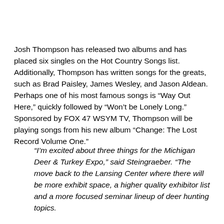Josh Thompson has released two albums and has placed six singles on the Hot Country Songs list. Additionally, Thompson has written songs for the greats, such as Brad Paisley, James Wesley, and Jason Aldean. Perhaps one of his most famous songs is “Way Out Here,” quickly followed by “Won’t be Lonely Long.” Sponsored by FOX 47 WSYM TV, Thompson will be playing songs from his new album “Change: The Lost Record Volume One.”
“I’m excited about three things for the Michigan Deer & Turkey Expo,” said Steingraeber. “The move back to the Lansing Center where there will be more exhibit space, a higher quality exhibitor list and a more focused seminar lineup of deer hunting topics.